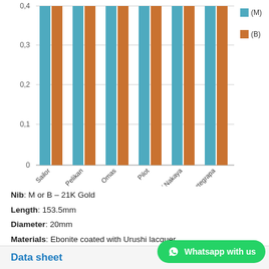[Figure (grouped-bar-chart): ]
Nib: M or B – 21K Gold
Length: 153.5mm
Diameter: 20mm
Materials: Ebonite coated with Urushi lacquer
Filling system: Converter (included) & Cartridge
Data sheet